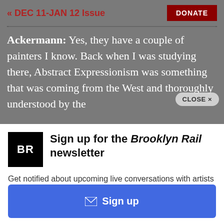« DEC 11-JAN 12 Issue
Ackermann: Yes, they have a couple of painters I know. Back when I was studying there, Abstract Expressionism was something that was coming from the West and thoroughly understood by the
[Figure (screenshot): CLOSE × button overlay in top right of content area]
[Figure (logo): Brooklyn Rail BR logo — black square with white BR letters]
Sign up for the Brooklyn Rail newsletter
Get notified about upcoming live conversations with artists and when the next issue of the Rail drops.
✉ Sign up